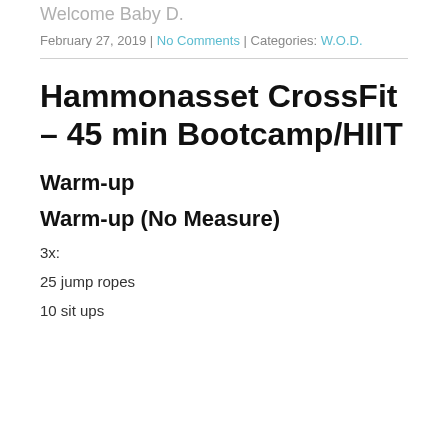Welcome Baby D.
February 27, 2019 | No Comments | Categories: W.O.D.
Hammonasset CrossFit – 45 min Bootcamp/HIIT
Warm-up
Warm-up (No Measure)
3x:
25 jump ropes
10 sit ups